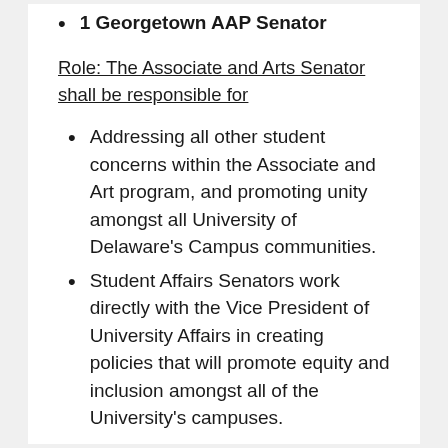1 Georgetown AAP Senator
Role: The Associate and Arts Senator shall be responsible for
Addressing all other student concerns within the Associate and Art program, and promoting unity amongst all University of Delaware’s Campus communities.
Student Affairs Senators work directly with the Vice President of University Affairs in creating policies that will promote equity and inclusion amongst all of the University’s campuses.